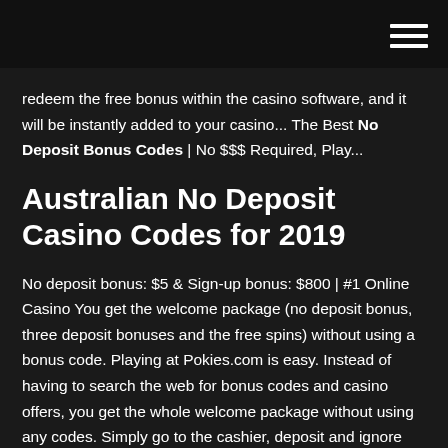redeem the free bonus within the casino software, and it will be instantly added to your casino... The Best No Deposit Bonus Codes | No $$$ Required, Play...
Australian No Deposit Casino Codes for 2019
No deposit bonus: $5 & Sign-up bonus: $800 | #1 Online Casino You get the welcome package (no deposit bonus, three deposit bonuses and the free spins) without using a bonus code. Playing at Pokies.com is easy. Instead of having to search the web for bonus codes and casino offers, you get the whole welcome package without using any codes. Simply go to the cashier, deposit and ignore the